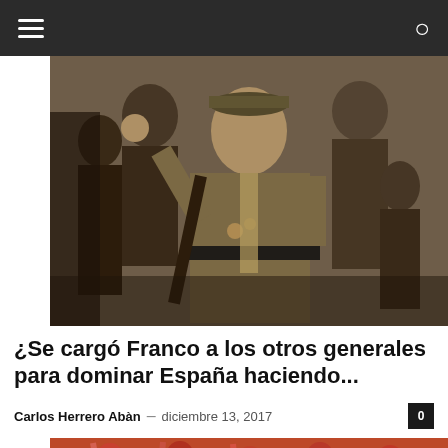Navigation bar with hamburger menu and search icon
[Figure (photo): Black and white historical photograph of Francisco Franco in military uniform, raising his right arm, surrounded by other military officers.]
¿Se cargó Franco a los otros generales para dominar España haciendo...
Carlos Herrero Abàn – diciembre 13, 2017
[Figure (photo): Partial color photograph showing a crowd of people raising their arms, wearing red hats.]